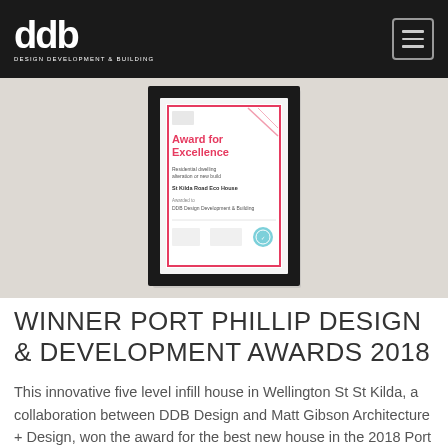ddb DESIGN DEVELOPMENT & BUILDING
[Figure (photo): A framed award certificate reading 'Award for Excellence' with pink text and logos, displayed against a light gray background.]
WINNER PORT PHILLIP DESIGN & DEVELOPMENT AWARDS 2018
This innovative five level infill house in Wellington St St Kilda, a collaboration between DDB Design and Matt Gibson Architecture + Design, won the award for the best new house in the 2018 Port Phillip Council awards.